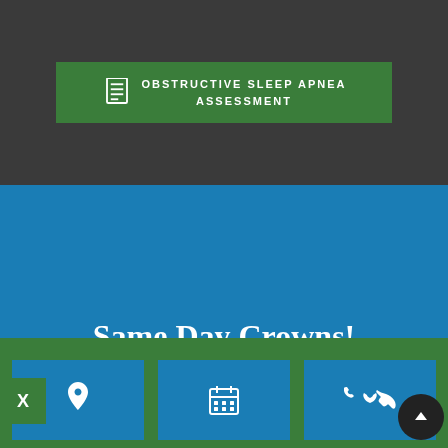OBSTRUCTIVE SLEEP APNEA ASSESSMENT
Same Day Crowns!
When it comes to taking impressions of your teeth, CEREC is a clear winner.
[Figure (infographic): Three blue icon buttons on green footer: location pin icon, calendar icon, and phone icon. A dark circular scroll-to-top button with upward arrow is in the bottom right.]